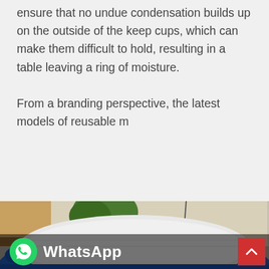ensure that no undue condensation builds up on the outside of the keep cups, which can make them difficult to hold, resulting in a table leaving a ring of moisture.

From a branding perspective, the latest models of reusable m
[Figure (photo): Rear view of a blue car with a silver windshield sun cover/shade fitted over the rear windscreen. Background shows a street scene with a building wall and green tree. A WhatsApp logo overlay with text 'WhatsApp' is shown at the bottom left, and a red scroll-to-top button at the bottom right.]